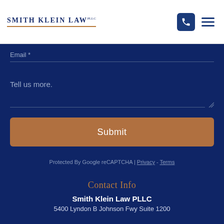[Figure (logo): Smith Klein Law PLLC logo with serif uppercase text and gold underline]
Email *
Tell us more.
Submit
Protected By Google reCAPTCHA | Privacy - Terms
Contact Info
Smith Klein Law PLLC
5400 Lyndon B Johnson Fwy Suite 1200